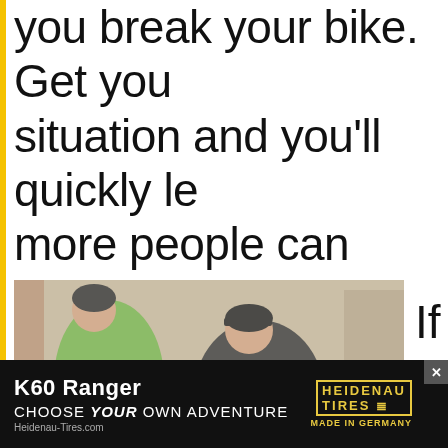you break your bike. Get your situation and you'll quickly le more people can solve probl than one.
[Figure (photo): Two motorcyclists in riding gear working on a broken-down bike on a dirt/gravel surface outdoors.]
If you adve expe bud
[Figure (other): Advertisement banner for Heidenau Tires K60 Ranger: 'CHOOSE YOUR OWN ADVENTURE' with logo, on dark background with tire image.]